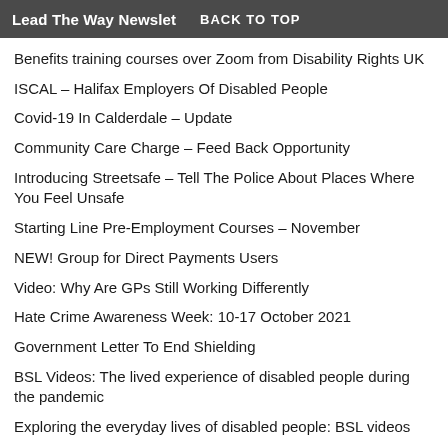Lead The Way Newsletter  BACK TO TOP
Benefits training courses over Zoom from Disability Rights UK
ISCAL – Halifax Employers Of Disabled People
Covid-19 In Calderdale – Update
Community Care Charge – Feed Back Opportunity
Introducing Streetsafe – Tell The Police About Places Where You Feel Unsafe
Starting Line Pre-Employment Courses – November
NEW! Group for Direct Payments Users
Video: Why Are GPs Still Working Differently
Hate Crime Awareness Week: 10-17 October 2021
Government Letter To End Shielding
BSL Videos: The lived experience of disabled people during the pandemic
Exploring the everyday lives of disabled people: BSL videos
UK Disability Survey research report: BSL videos